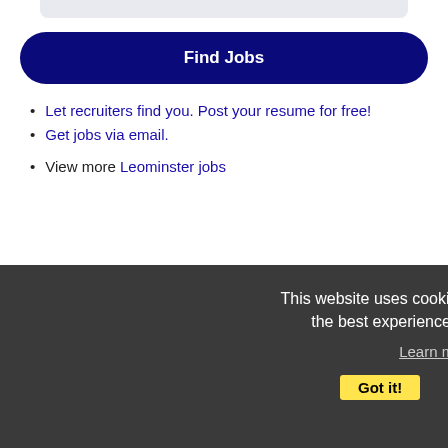[Figure (other): Light gray rounded bar at the top of the page]
Find Jobs
Let recruiters find you. Post your resume for free!
Get jobs via email.
View more Leominster jobs
This website uses cookies to ensure you get the best experience on our website.
Learn more
Other Jobs
Lawn Specialist
Description: Salary: br br R49.08 an hour br br R17608 br Lawn Specialist br br 30 Access Road, Warwick, Rhode Island 02886 br br Job Description br br Do you like being outdoors Do you like (more...)